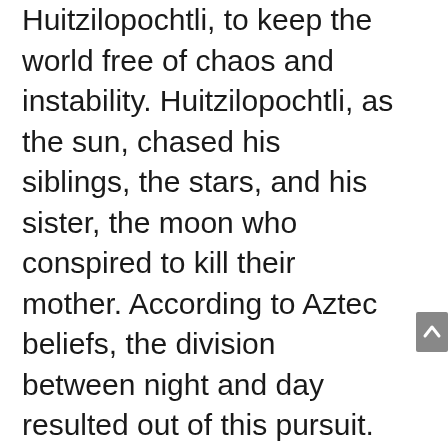Huitzilopochtli, to keep the world free of chaos and instability. Huitzilopochtli, as the sun, chased his siblings, the stars, and his sister, the moon who conspired to kill their mother. According to Aztec beliefs, the division between night and day resulted out of this pursuit.
In Aztec mythology, Huitzilopochtli is represented as a hummingbird or an eagle.
Mictlantecuhtil